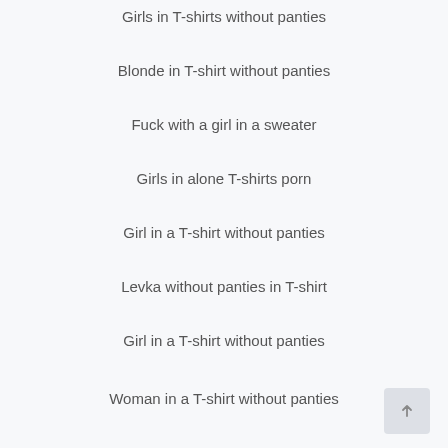Girls in T-shirts without panties
Blonde in T-shirt without panties
Fuck with a girl in a sweater
Girls in alone T-shirts porn
Girl in a T-shirt without panties
Levka without panties in T-shirt
Girl in a T-shirt without panties
Woman in a T-shirt without panties